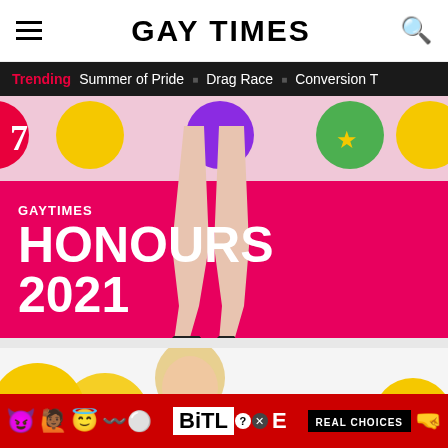GAY TIMES
Trending  Summer of Pride  ■  Drag Race  ■  Conversion T
[Figure (photo): Person's legs in black heels on a pink carpet with colorful circle badges in the background. Overlaid text reads: GAY TIMES HONOURS 2021]
[Figure (photo): Partial view of another content section below, showing yellow circular shapes and a person, with a BitLife advertisement banner overlaid at the bottom reading REAL CHOICES with emoji characters]